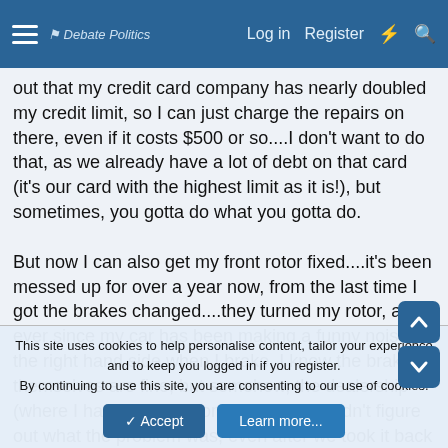Debate Politics — Log in | Register
out that my credit card company has nearly doubled my credit limit, so I can just charge the repairs on there, even if it costs $500 or so....I don't want to do that, as we already have a lot of debt on that card (it's our card with the highest limit as it is!), but sometimes, you gotta do what you gotta do.

But now I can also get my front rotor fixed....it's been messed up for over a year now, from the last time I got the brakes changed....they turned my rotor, and ever since my car has been making a funny noise on the right hand side when I brake. I know the brakes themselves are fine, but somehow, the dealership (where I had the work done, no less) couldn't figure out what the problem was, even after we took it back four times....morons. Common sense would say that if the brake pads are fine, and in the proper place, you check the other work you did, but I gu...
This site uses cookies to help personalise content, tailor your experience and to keep you logged in if you register.
By continuing to use this site, you are consenting to our use of cookies.